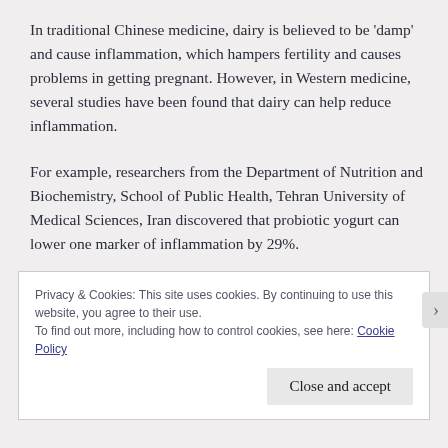In traditional Chinese medicine, dairy is believed to be 'damp' and cause inflammation, which hampers fertility and causes problems in getting pregnant. However, in Western medicine, several studies have been found that dairy can help reduce inflammation.
For example, researchers from the Department of Nutrition and Biochemistry, School of Public Health, Tehran University of Medical Sciences, Iran discovered that probiotic yogurt can lower one marker of inflammation by 29%.
Privacy & Cookies: This site uses cookies. By continuing to use this website, you agree to their use.
To find out more, including how to control cookies, see here: Cookie Policy